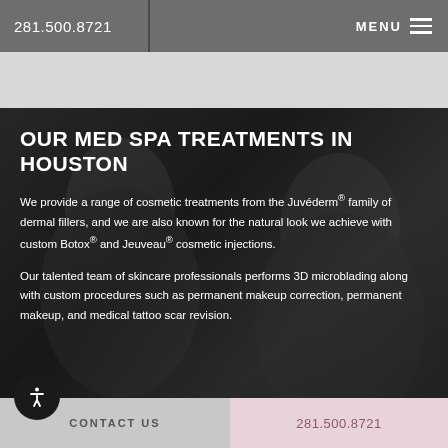281.500.8721   MENU
OUR MED SPA TREATMENTS IN HOUSTON
We provide a range of cosmetic treatments from the Juvéderm® family of dermal fillers, and we are also known for the natural look we achieve with custom Botox® and Jeuveau® cosmetic injections.
Our talented team of skincare professionals performs 3D microblading along with custom procedures such as permanent makeup correction, permanent makeup, and medical tattoo scar revision.
CONTACT US   281.500.8721